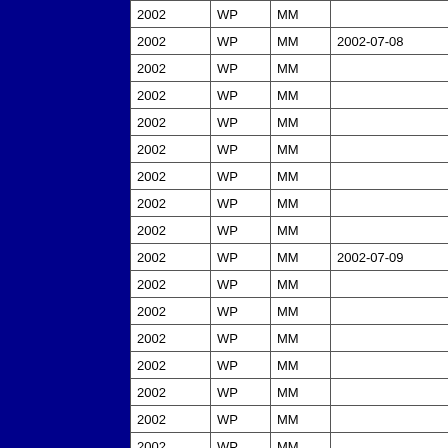| 2002 | WP | MM |  |
| 2002 | WP | MM | 2002-07-08 |
| 2002 | WP | MM |  |
| 2002 | WP | MM |  |
| 2002 | WP | MM |  |
| 2002 | WP | MM |  |
| 2002 | WP | MM |  |
| 2002 | WP | MM |  |
| 2002 | WP | MM |  |
| 2002 | WP | MM | 2002-07-09 |
| 2002 | WP | MM |  |
| 2002 | WP | MM |  |
| 2002 | WP | MM |  |
| 2002 | WP | MM |  |
| 2002 | WP | MM |  |
| 2002 | WP | MM |  |
| 2002 | WP | MM |  |
| 2002 | WP | MM | 2002-07-10 |
| 2002 | WP | MM |  |
| 2002 | WP | MM |  |